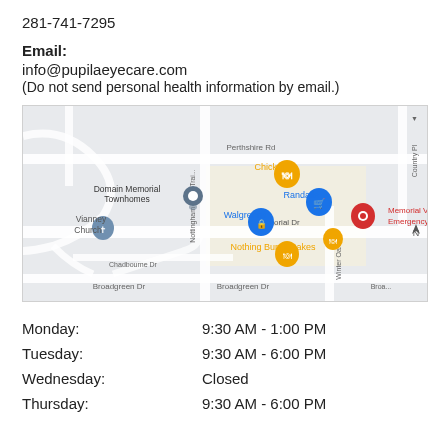281-741-7295
Email:
info@pupilaeyecare.com
(Do not send personal health information by email.)
[Figure (map): Google Maps view showing the area near Memorial Dr, featuring landmarks: Chick-fil-A, Randalls, Walgreens, Domain Memorial Townhomes, Vianney Church, Nothing Bundt Cakes, Memorial Village Emergency Room. Streets visible: Perthshire Rd, Nottingham Oaks Trail, Chadbourne Dr, Broadgreen Dr, Winter Oaks, Country Pl.]
| Day | Hours |
| --- | --- |
| Monday: | 9:30 AM - 1:00 PM |
| Tuesday: | 9:30 AM - 6:00 PM |
| Wednesday: | Closed |
| Thursday: | 9:30 AM - 6:00 PM |